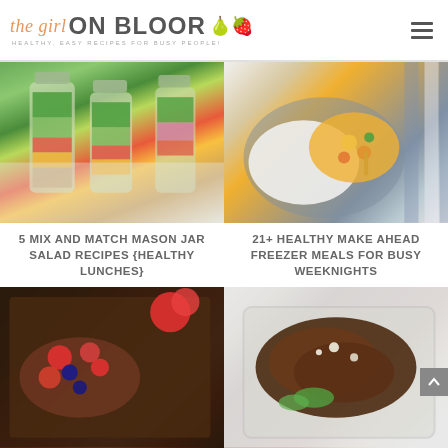the girl ON BLOOR — HEALTHY, EASY RECIPES FOR BUSY PEOPLE!
[Figure (photo): Mason jars filled with layered salads including greens, broccoli, strawberries, carrots, and other vegetables]
[Figure (photo): Bowl of white rice with mango, corn, red pepper, and vegetable stir-fry topping with a yellow spoon, on a striped cloth]
5 MIX AND MATCH MASON JAR SALAD RECIPES {HEALTHY LUNCHES}
21+ HEALTHY MAKE AHEAD FREEZER MEALS FOR BUSY WEEKNIGHTS
[Figure (photo): Baking pan with berry french toast bake topped with strawberries and blueberries]
[Figure (photo): Glass meal prep container with grilled chicken topped with herbs and crumbled cheese]